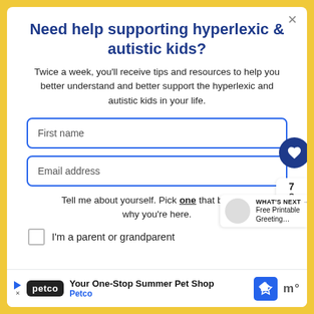Need help supporting hyperlexic & autistic kids?
Twice a week, you'll receive tips and resources to help you better understand and better support the hyperlexic and autistic kids in your life.
First name
Email address
Tell me about yourself. Pick one that best describes why you're here.
I'm a parent or grandparent
Your One-Stop Summer Pet Shop — Petco